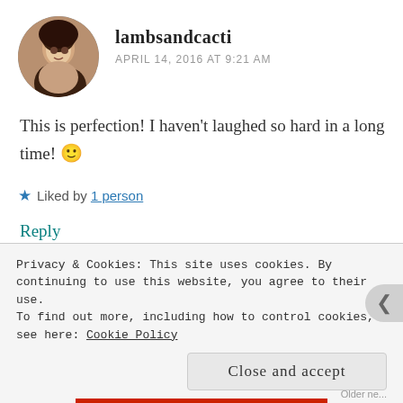lambsandcacti
APRIL 14, 2016 AT 9:21 AM
This is perfection! I haven't laughed so hard in a long time! 🙂
★ Liked by 1 person
Reply
christine ▲
Privacy & Cookies: This site uses cookies. By continuing to use this website, you agree to their use.
To find out more, including how to control cookies, see here: Cookie Policy
Close and accept